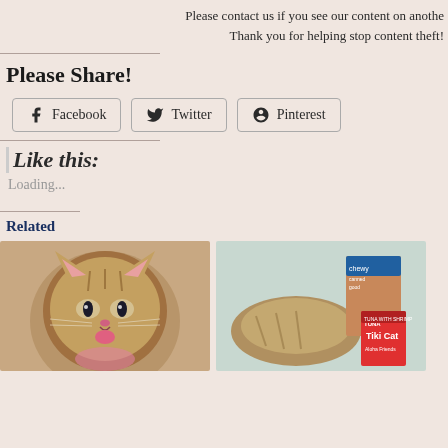Please contact us if you see our content on anothe...
Thank you for helping stop content theft!
Please Share!
[Figure (infographic): Social share buttons: Facebook, Twitter, Pinterest]
Like this:
Loading...
Related
[Figure (photo): Close-up photo of a tabby kitten licking something pink]
[Figure (photo): Photo of a sleeping cat next to Chewy canned goods and Tiki Cat product]